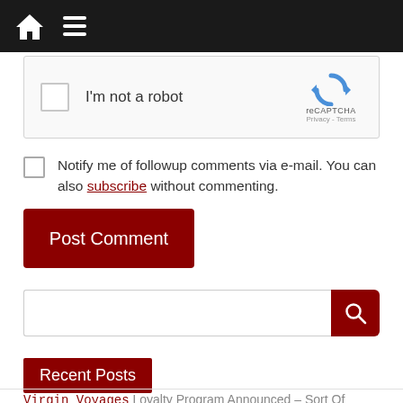Navigation bar with home icon and menu icon
[Figure (screenshot): reCAPTCHA widget with checkbox labeled 'I'm not a robot' and reCAPTCHA logo with 'Privacy - Terms']
Notify me of followup comments via e-mail. You can also subscribe without commenting.
[Figure (screenshot): Post Comment button in dark red]
[Figure (screenshot): Search bar with text input field and dark red search button with magnifying glass icon]
Recent Posts
Virgin Voyages Loyalty Program Announced – Sort Of